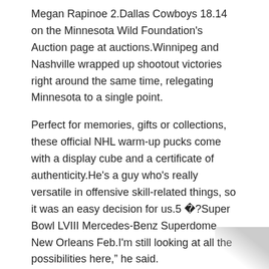Megan Rapinoe 2.Dallas Cowboys 18.14 on the Minnesota Wild Foundation's Auction page at auctions.Winnipeg and Nashville wrapped up shootout victories right around the same time, relegating Minnesota to a single point.
Perfect for memories, gifts or collections, these official NHL warm-up pucks come with a display cube and a certificate of authenticity.He's a guy who's really versatile in offensive skill-related things, so it was an easy decision for us.5 �?Super Bowl LVIII Mercedes-Benz Superdome New Orleans Feb.I'm still looking at all the possibilities here,” he said.
Based on the spy photos, the Z5 will ditch the Z4’s folding hard top in favor of a simpler and lighter soft top.Big left arrow icon Big right arrow icon Close icon Copy Url Three dots icon Down arrow icon Email icon Email icon Exit Fullscreen icon External link icon Facebook logo Football icon Facebook logo Instagram logo Snapchat logo YouTube logo Grid icon Key icon Left arrow icon Link icon Location icon Mail icon Menu icon Open icon Phone icon Play icon Radio icon